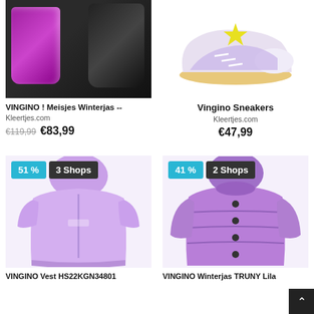[Figure (photo): Purple metallic jacket and black fur jacket product photo]
VINGINO ! Meisjes Winterjas --
Kleertjes.com
€119,99  €83,99
[Figure (photo): Vingino sneakers with star detail, white/lilac colorway]
Vingino Sneakers
Kleertjes.com
€47,99
[Figure (photo): VINGINO lilac hooded vest with short sleeves, 51% off badge, 3 Shops]
VINGINO Vest HS22KGN34801
[Figure (photo): VINGINO Winterjas TRUNY Lila puffer jacket, 41% off badge, 2 Shops]
VINGINO Winterjas TRUNY Lila